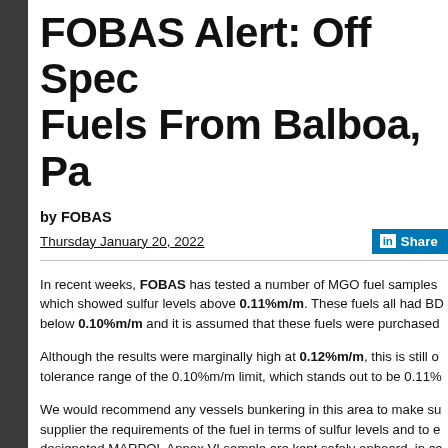FOBAS Alert: Off Spec Fuels From Balboa, Pa...
by FOBAS
Thursday January 20, 2022
In recent weeks, FOBAS has tested a number of MGO fuel samples which showed sulfur levels above 0.11%m/m. These fuels all had BD below 0.10%m/m and it is assumed that these fuels were purchased...
Although the results were marginally high at 0.12%m/m, this is still outside the tolerance range of the 0.10%m/m limit, which stands out to be 0.11%...
We would recommend any vessels bunkering in this area to make sure to advise the supplier the requirements of the fuel in terms of sulfur levels and to ensure that the designated MARPOL Annex VI sample are kept safely onboard, in case a port state authority to check sulfur compliance.
Any vessel with particular concerns or dealing with an off-spec result...